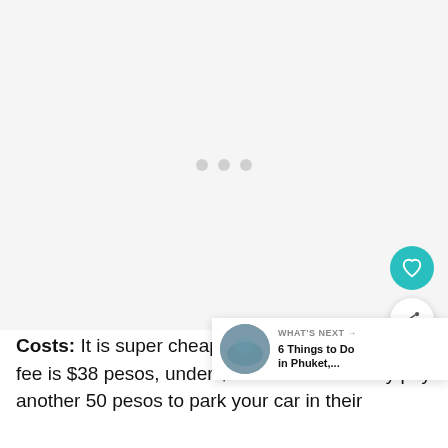[Figure (photo): Large image placeholder area with loading dots (gray dots centered), likely a photo of a location. Two floating action buttons visible: a teal heart button and a white share button.]
Costs: It is super cheap to get in. The entrance fee is $38 pesos, under $3.50 USD. You may pay another 50 pesos to park your car in their